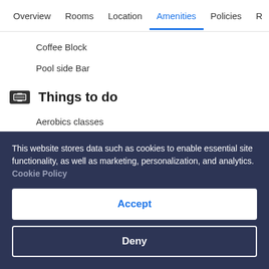Overview  Rooms  Location  Amenities  Policies  R
Coffee Block
Pool side Bar
Things to do
Aerobics classes
Arcade/games room
Children's pool
Evening entertainment
Fitness center
This website stores data such as cookies to enable essential site functionality, as well as marketing, personalization, and analytics. Cookie Policy
Accept
Deny